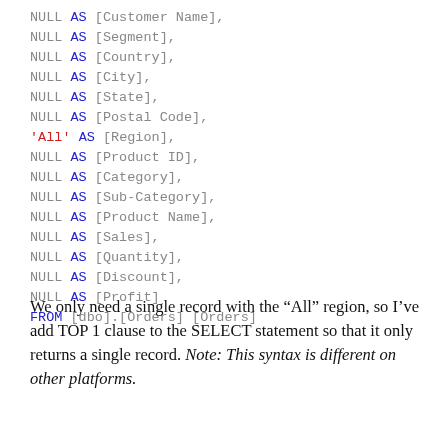NULL AS [Customer Name],
        NULL AS [Segment],
        NULL AS [Country],
        NULL AS [City],
        NULL AS [State],
        NULL AS [Postal Code],
        'All' AS [Region],
        NULL AS [Product ID],
        NULL AS [Category],
        NULL AS [Sub-Category],
        NULL AS [Product Name],
        NULL AS [Sales],
        NULL AS [Quantity],
        NULL AS [Discount],
        NULL AS [Profit]
    FROM [dbo].[Orders] [Orders]
We only need a single record with the “All” region, so I’ve add TOP 1 clause to the SELECT statement so that it only returns a single record. Note: This syntax is different on other platforms.